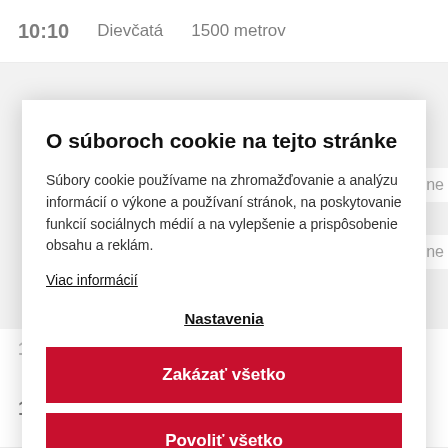10:10   Dievčatá   1500 metrov
O súboroch cookie na tejto stránke
Súbory cookie používame na zhromažďovanie a analýzu informácií o výkone a používaní stránok, na poskytovanie funkcií sociálnych médií a na vylepšenie a prispôsobenie obsahu a reklám.
Viac informácií
Nastavenia
Zakázať všetko
Povoliť všetko
11:34   Dievčatá   1500 metrov
11:40   Dievčatá   3000 metrov